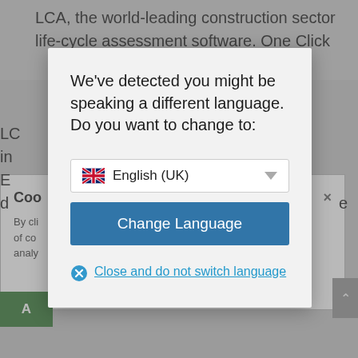LCA, the world-leading construction sector life-cycle assessment software. One Click LCA, the world-leading construction sector in... E... d...
Coo...  ×
By cli... of co... analy...
[Figure (screenshot): Language change modal dialog on a webpage. The modal shows the message: 'We've detected you might be speaking a different language. Do you want to change to:' with a dropdown selector showing 'English (UK)' with a UK flag icon, a blue 'Change Language' button, and a 'Close and do not switch language' link with an X icon.]